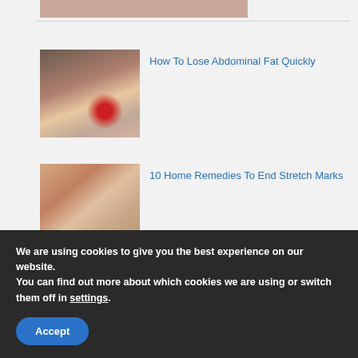[Figure (photo): Partial view of a person's abdomen or body, cropped at top of page]
[Figure (photo): Close-up of abdomen area with a medical injection or needle, thumbnail for article about losing abdominal fat]
How To Lose Abdominal Fat Quickly
[Figure (photo): Hands pinching skin/stretch marks on body, thumbnail for stretch marks article]
10 Home Remedies To End Stretch Marks
We are using cookies to give you the best experience on our website.
You can find out more about which cookies we are using or switch them off in settings.
Accept